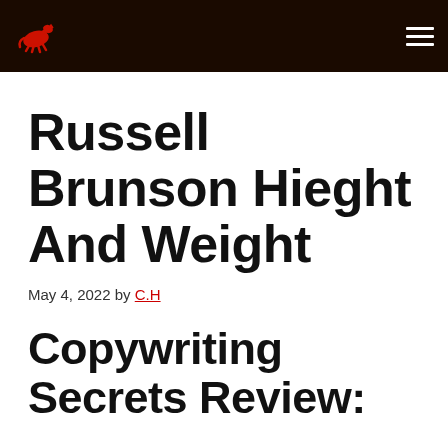[Logo: horse/running figure icon] [Hamburger menu]
Russell Brunson Hieght And Weight
May 4, 2022 by C.H
Copywriting Secrets Review: